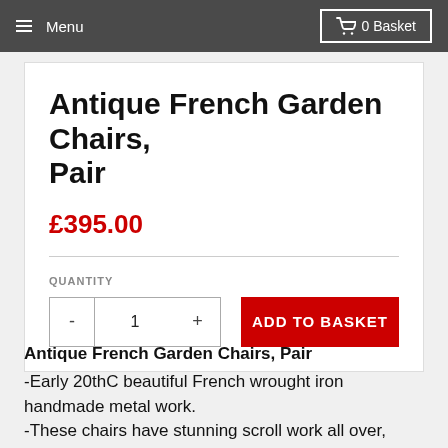Menu   0 Basket
Antique French Garden Chairs, Pair
£395.00
QUANTITY
- 1 +   ADD TO BASKET
Antique French Garden Chairs, Pair
-Early 20thC beautiful French wrought iron handmade metal work.
-These chairs have stunning scroll work all over, especially the back seat detailing with the circular 'S'